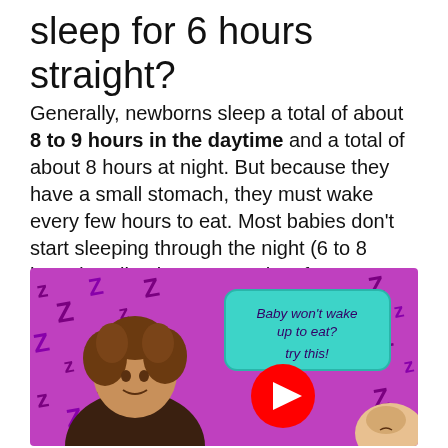sleep for 6 hours straight?
Generally, newborns sleep a total of about 8 to 9 hours in the daytime and a total of about 8 hours at night. But because they have a small stomach, they must wake every few hours to eat. Most babies don't start sleeping through the night (6 to 8 hours) until at least 3 months of age. But this can vary a lot.
[Figure (screenshot): Video thumbnail showing a woman with curly hair smiling, a sleeping baby, purple background with Z letters, a teal speech bubble reading 'Baby won't wake up to eat? try this!' with a red YouTube play button.]